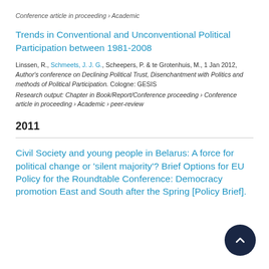Conference article in proceeding › Academic
Trends in Conventional and Unconventional Political Participation between 1981-2008
Linssen, R., Schmeets, J. J. G., Scheepers, P. & te Grotenhuis, M., 1 Jan 2012, Author's conference on Declining Political Trust, Disenchantment with Politics and methods of Political Participation. Cologne: GESIS
Research output: Chapter in Book/Report/Conference proceeding › Conference article in proceeding › Academic › peer-review
2011
Civil Society and young people in Belarus: A force for political change or 'silent majority'? Brief Options for EU Policy for the Roundtable Conference: Democracy promotion East and South after the Spring [Policy Brief].